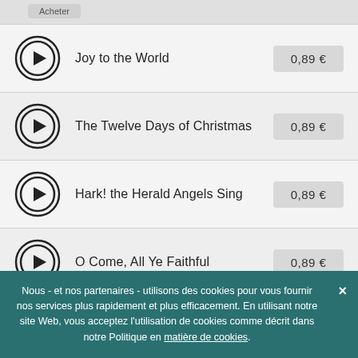Joy to the World — 0,89 €
The Twelve Days of Christmas — 0,89 €
Hark! the Herald Angels Sing — 0,89 €
O Come, All Ye Faithful — 0,89 €
A Merry Christmas — 0,89 €
Nous - et nos partenaires - utilisons des cookies pour vous fournir nos services plus rapidement et plus efficacement. En utilisant notre site Web, vous acceptez l'utilisation de cookies comme décrit dans notre Politique en matière de cookies.